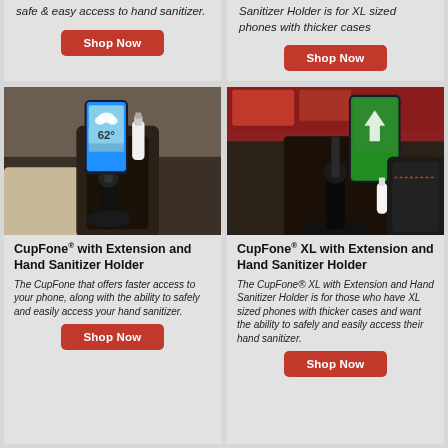safe & easy access to hand sanitizer.
Sanitizer Holder is for XL sized phones with thicker cases
[Figure (photo): Car cup holder with phone mount showing weather app at 62 degrees and hand sanitizer bottle in a vehicle interior]
CupFone® with Extension and Hand Sanitizer Holder
The CupFone that offers faster access to your phone, along with the ability to safely and easily access your hand sanitizer.
[Figure (photo): Car cup holder with XL phone mount and hand sanitizer holder in a vehicle interior with red accents]
CupFone® XL with Extension and Hand Sanitizer Holder
The CupFone® XL with Extension and Hand Sanitizer Holder is for those who have XL sized phones with thicker cases and want the ability to safely and easily access their hand sanitizer.